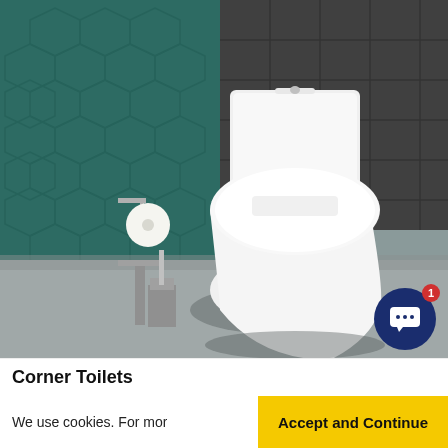[Figure (photo): Bathroom scene showing a white close-coupled corner toilet with soft-close seat and cistern, set against a dark teal hexagonal tile wall on the left and dark grey rectangular tiles on the right. A chrome toilet paper holder with a roll and a metal toilet brush holder are visible. The floor is grey concrete-style tile.]
Corner Toilets
We use cookies. For mor
Accept and Continue